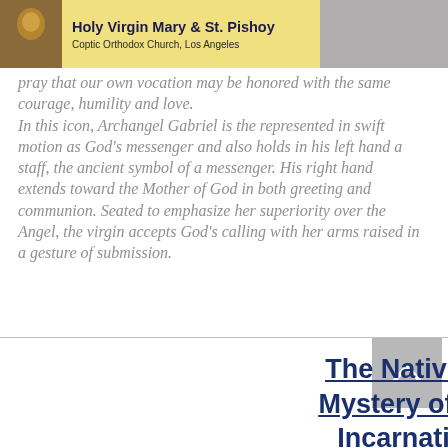Holy Virgin Mary & St. Pishoy Coptic Orthodox Church, Los Angeles
pray that our own vocation may be honored with the same courage, humility and love. In this icon, Archangel Gabriel is the represented in swift motion as God's messenger and also holds in his left hand a staff, the ancient symbol of a messenger. His right hand extends toward the Mother of God in both greeting and communion. Seated to emphasize her superiority over the Angel, the virgin accepts God's calling with her arms raised in a gesture of submission.
The Nativity - Mystery of the Incarnation